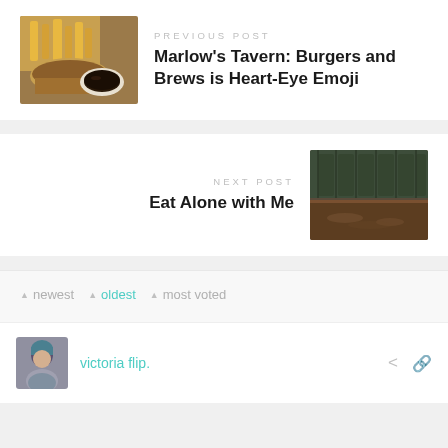[Figure (photo): Food photo showing burger with fries and dipping sauce]
PREVIOUS POST
Marlow's Tavern: Burgers and Brews is Heart-Eye Emoji
NEXT POST
Eat Alone with Me
[Figure (photo): Restaurant interior showing dark green tufted booth seating and wooden table]
newest
oldest
most voted
[Figure (photo): Avatar photo of victoria flip - person with dark hair]
victoria flip.